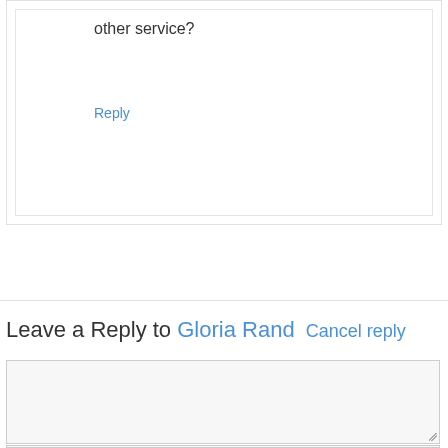other service?
Reply
Leave a Reply to Gloria Rand Cancel reply
[Comment text area]